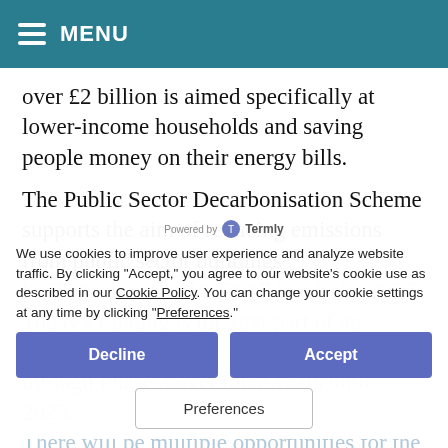MENU
over £2 billion is aimed specifically at lower-income households and saving people money on their energy bills.
The Public Sector Decarbonisation Scheme supports the aim of reducing emissions from public sector buildings by 75%, compared to 2017 levels, by 2037. Today's funding is the first part of an overall £1.425 billion due to be allocated through Phase 3 over three years until 2025.
There will be multiple opportunities for the public sector to secure funding through Phase 3 of the Public Sector Decarbonisation Scheme. Guidance on how to apply for the next round of
We use cookies to improve user experience and analyze website traffic. By clicking "Accept," you agree to our website's cookie use as described in our Cookie Policy. You can change your cookie settings at any time by clicking "Preferences."
Decline
Accept
Preferences